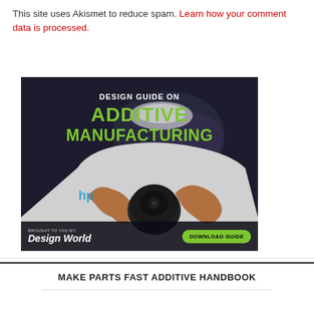This site uses Akismet to reduce spam. Learn how your comment data is processed.
[Figure (illustration): Design Guide on Additive Manufacturing advertisement banner. Dark background with a person's hands holding a 3D printed part. Green bold text reads 'DESIGN GUIDE ON ADDITIVE MANUFACTURING'. Bottom bar shows 'BROUGHT TO YOU BY: Design World' and a 'DOWNLOAD GUIDE' green button.]
MAKE PARTS FAST ADDITIVE HANDBOOK